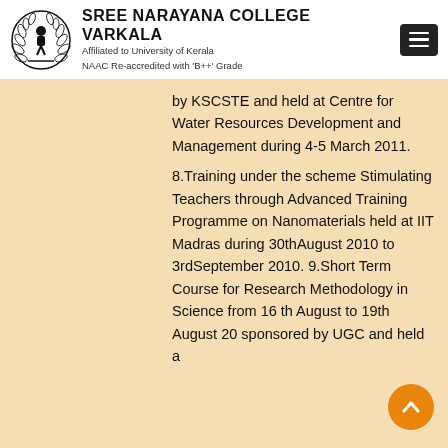SREE NARAYANA COLLEGE VARKALA — Affiliated to University of Kerala — NAAC Re-accredited with 'B++' Grade
by KSCSTE and held at Centre for Water Resources Development and Management during 4-5 March 2011. 8.Training under the scheme Stimulating Teachers through Advanced Training Programme on Nanomaterials held at IIT Madras during 30thAugust 2010 to 3rdSeptember 2010. 9.Short Term Course for Research Methodology in Science from 16 th August to 19th August 20 sponsored by UGC and held a